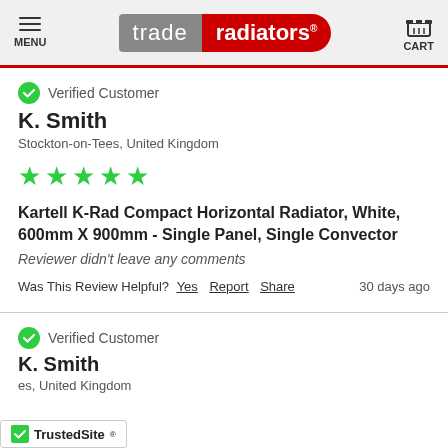MENU | trade radiators | CART
Verified Customer
K. Smith
Stockton-on-Tees, United Kingdom
[Figure (other): 5 green stars rating]
Kartell K-Rad Compact Horizontal Radiator, White, 600mm X 900mm - Single Panel, Single Convector
Reviewer didn't leave any comments
Was This Review Helpful? Yes Report Share 30 days ago
Verified Customer
K. Smith
es, United Kingdom
[Figure (logo): TrustedSite badge]